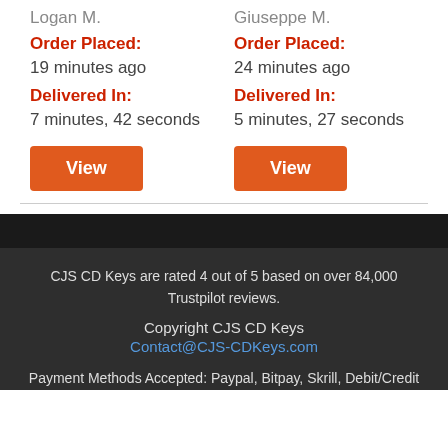Logan M.
Order Placed:
19 minutes ago
Delivered In:
7 minutes, 42 seconds
View
Giuseppe M.
Order Placed:
24 minutes ago
Delivered In:
5 minutes, 27 seconds
View
CJS CD Keys are rated 4 out of 5 based on over 84,000 Trustpilot reviews.
Copyright CJS CD Keys
Contact@CJS-CDKeys.com
Payment Methods Accepted: Paypal, Bitpay, Skrill, Debit/Credit